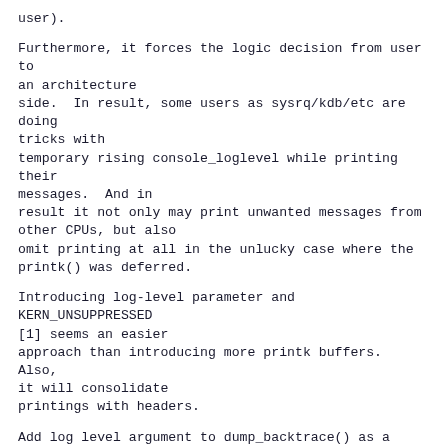user).
Furthermore, it forces the logic decision from user to an architecture
side.  In result, some users as sysrq/kdb/etc are doing tricks with
temporary rising console_loglevel while printing their messages.  And in
result it not only may print unwanted messages from other CPUs, but also
omit printing at all in the unlucky case where the printk() was deferred.
Introducing log-level parameter and KERN_UNSUPPRESSED
[1] seems an easier
approach than introducing more printk buffers.  Also,
it will consolidate
printings with headers.
Add log level argument to dump_backtrace() as a preparation for
introducing show_stack_loglvl().
As a good side-effect __die() now prints not only
"Stack:" header with
KERN_EMERG, but the backtrace itself.
[1]: https://lore.kernel.org/lkml/20190528002412.1625-1-dima@arista.com/T/#u